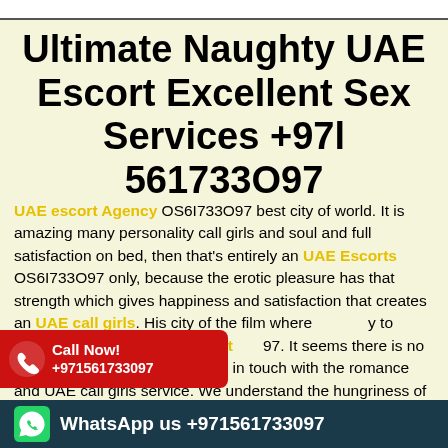Ultimate Naughty UAE Escort Excellent Sex Services +97l 561733O97
UAE escort Agency OS6I733O97 best city of world. It is amazing many personality call girls and soul and full satisfaction on bed, then that's entirely an UAE Escorts OS6I733O97 only, because the erotic pleasure has that strength which gives happiness and satisfaction that creates an UAE call girls. His city of the film where y to entertain the whole UAE escort 97. It seems there is no one to consider them. They are in touch with the romance and UAE call girls service. We understand the hungriness of
[Figure (infographic): Red call now banner with phone icon showing +971561733097]
WhatsApp us +971561733097